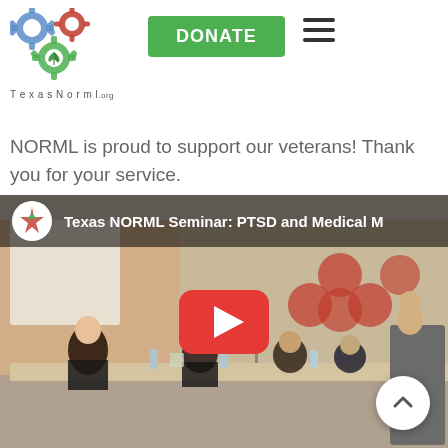[Figure (logo): Texas NORML logo with interlocking gears (blue, red, green with cannabis leaf) and TexasNorml.org text]
DONATE
...e. We would lik... Texas board members and volunteers who help make this event possible. Texas NORML is proud to support our veterans! Thank you for your service.
[Figure (screenshot): YouTube video thumbnail showing Texas NORML Seminar: PTSD and Medical M[arijuana]. Panel of people seated at a table in a conference room with a red YouTube play button overlay. Texas NORML logo in top left corner of video player.]